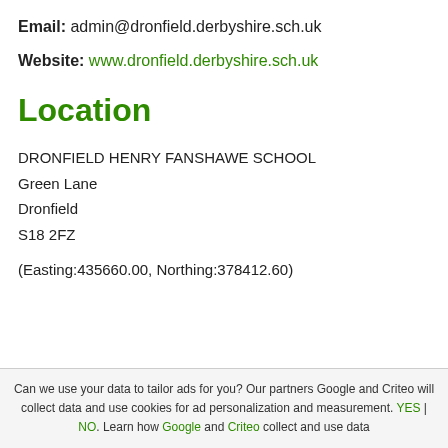Email: admin@dronfield.derbyshire.sch.uk
Website: www.dronfield.derbyshire.sch.uk
Location
DRONFIELD HENRY FANSHAWE SCHOOL
Green Lane
Dronfield
S18 2FZ
(Easting:435660.00, Northing:378412.60)
Can we use your data to tailor ads for you? Our partners Google and Criteo will collect data and use cookies for ad personalization and measurement. YES | NO. Learn how Google and Criteo collect and use data